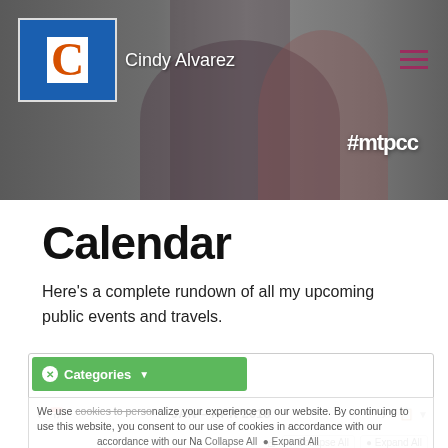[Figure (photo): Website header with photo of Cindy Alvarez speaking with a microphone and another woman speaking in front of a teal background with #mtpcc hashtag visible. Blue square logo with letter C and hamburger menu icon.]
Calendar
Here's a complete rundown of all my upcoming public events and travels.
[Figure (screenshot): Calendar widget with Categories dropdown (green button), navigation bar showing JAN – APR 2018 with left/right arrows, print icon, Collapse All and Expand All buttons. Cookie consent banner overlays the calendar reading 'We use cookies to personalize your experience on our website. By continuing to use this website, you consent to our use of cookies in accordance with our Privacy Policy' with OK and Privacy Policy actions. Event item showing JAN 31 with title 'How Product Management Leads Change in the Enterprise'.]